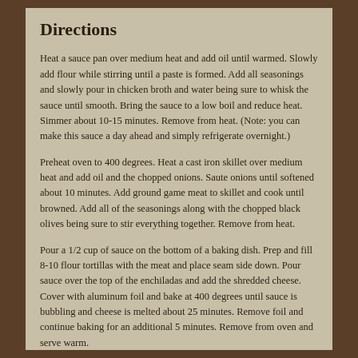Directions
Heat a sauce pan over medium heat and add oil until warmed. Slowly add flour while stirring until a paste is formed. Add all seasonings and slowly pour in chicken broth and water being sure to whisk the sauce until smooth. Bring the sauce to a low boil and reduce heat. Simmer about 10-15 minutes. Remove from heat. (Note: you can make this sauce a day ahead and simply refrigerate overnight.)
Preheat oven to 400 degrees. Heat a cast iron skillet over medium heat and add oil and the chopped onions. Saute onions until softened about 10 minutes. Add ground game meat to skillet and cook until browned. Add all of the seasonings along with the chopped black olives being sure to stir everything together. Remove from heat.
Pour a 1/2 cup of sauce on the bottom of a baking dish. Prep and fill 8-10 flour tortillas with the meat and place seam side down. Pour sauce over the top of the enchiladas and add the shredded cheese. Cover with aluminum foil and bake at 400 degrees until sauce is bubbling and cheese is melted about 25 minutes. Remove foil and continue baking for an additional 5 minutes. Remove from oven and serve warm.
Garnish with chopped green onions, black olives, sliced radish and